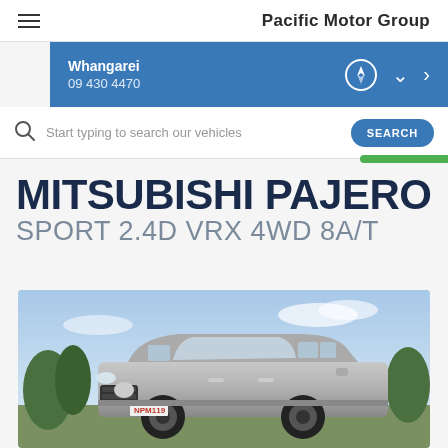Pacific Motor Group
Whangarei
09 430 4470
Start typing to search our vehicles
MITSUBISHI PAJERO
SPORT 2.4D VRX 4WD 8A/T
[Figure (photo): Silver Mitsubishi Pajero Sport SUV parked outdoors with blue sky and vegetation in background, front-quarter view, NZ license plate NPM119]